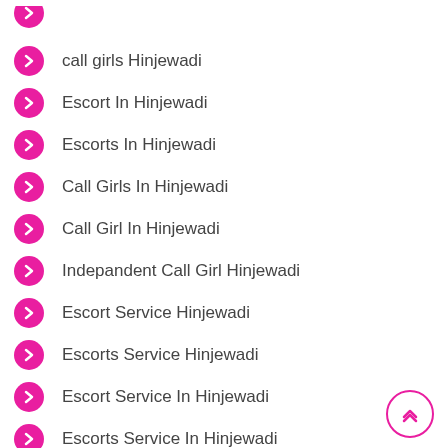call girls Hinjewadi
Escort In Hinjewadi
Escorts In Hinjewadi
Call Girls In Hinjewadi
Call Girl In Hinjewadi
Indepandent Call Girl Hinjewadi
Escort Service Hinjewadi
Escorts Service Hinjewadi
Escort Service In Hinjewadi
Escorts Service In Hinjewadi
Escort Hinjewadi
EscortS Hinjewadi